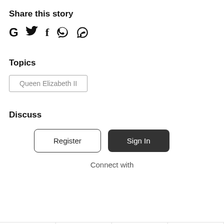Share this story
[Figure (other): Social sharing icons: Google (G), Twitter (bird), Facebook (f), Viber (chat bubble with phone), WhatsApp (chat bubble)]
Topics
Queen Elizabeth II
Discuss
Register
Sign In
Connect with